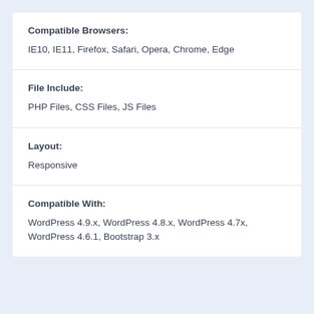Compatible Browsers:
IE10, IE11, Firefox, Safari, Opera, Chrome, Edge
File Include:
PHP Files, CSS Files, JS Files
Layout:
Responsive
Compatible With:
WordPress 4.9.x, WordPress 4.8.x, WordPress 4.7x, WordPress 4.6.1, Bootstrap 3.x